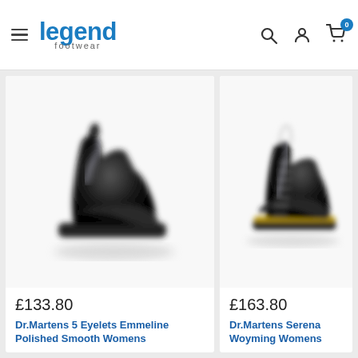legend footwear
[Figure (photo): Black Dr.Martens 5 Eyelets Emmeline Polished Smooth Womens boot, left product card]
£133.80
Dr.Martens 5 Eyelets Emmeline Polished Smooth Womens
[Figure (photo): Black Dr.Martens Serena Woyming Womens boot, right product card (partially visible)]
£163.80
Dr.Martens Serena Woyming Womens